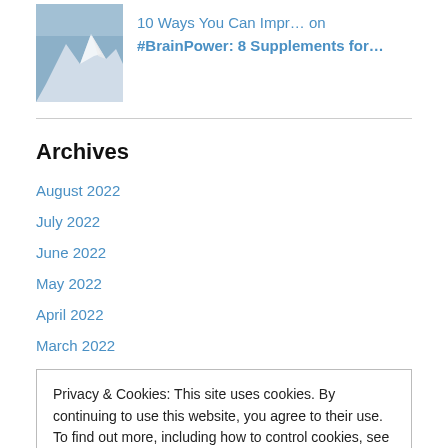[Figure (photo): Thumbnail image of a snow-capped mountain]
10 Ways You Can Impr… on #BrainPower: 8 Supplements for…
Archives
August 2022
July 2022
June 2022
May 2022
April 2022
March 2022
Privacy & Cookies: This site uses cookies. By continuing to use this website, you agree to their use.
To find out more, including how to control cookies, see here: Cookie Policy
Close and accept
August 2021